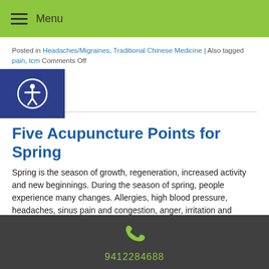Menu
Posted in Headaches/Migraines, Traditional Chinese Medicine | Also tagged pain, tcm Comments Off
Five Acupuncture Points for Spring
Spring is the season of growth, regeneration, increased activity and new beginnings. During the season of spring, people experience many changes. Allergies, high blood pressure, headaches, sinus pain and congestion, anger, irritation and tendon problems are just some of the issues common to the spring months. Many of these problems can be attributed to increased wind in the environment.
Continue reading
Posted in Acupuncture, Traditional Chinese Medicine | Also tagged allergies,
9412284688